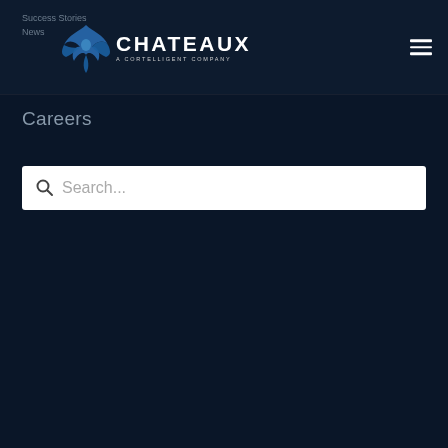Chateaux — A Cortelligent Company navigation bar with logo
Careers
Search...